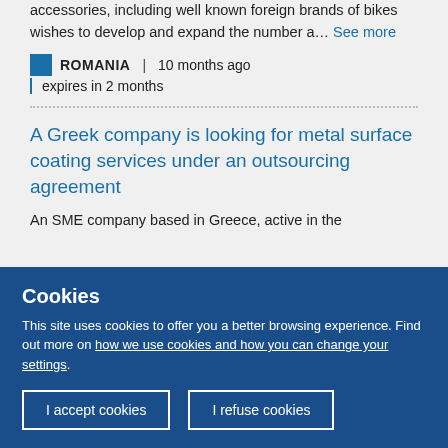accessories, including well known foreign brands of bikes wishes to develop and expand the number a... See more
ROMANIA | 10 months ago | expires in 2 months
A Greek company is looking for metal surface coating services under an outsourcing agreement
An SME company based in Greece, active in the
Cookies
This site uses cookies to offer you a better browsing experience. Find out more on how we use cookies and how you can change your settings.
I accept cookies
I refuse cookies